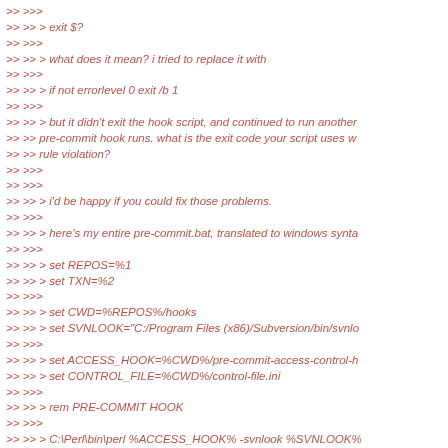>> >>>
>> >> > exit $?
>> >>>
>> >> > what does it mean? i tried to replace it with
>> >>>
>> >> > if not errorlevel 0 exit /b 1
>> >>>
>> >> > but it didn't exit the hook script, and continued to run another
>> >> pre-commit hook runs. what is the exit code your script uses w
>> >> rule violation?
>> >>>
>> >>>
>> >> > i'd be happy if you could fix those problems.
>> >>>
>> >> > here's my entire pre-commit.bat, translated to windows synta
>> >>>
>> >> > set REPOS=%1
>> >> > set TXN=%2
>> >>>
>> >> > set CWD=%REPOS%/hooks
>> >> > set SVNLOOK="C:/Program Files (x86)/Subversion/bin/svnlo
>> >>>
>> >> > set ACCESS_HOOK=%CWD%/pre-commit-access-control-h
>> >> > set CONTROL_FILE=%CWD%/control-file.ini
>> >>>
>> >> > rem PRE-COMMIT HOOK
>> >>>
>> >> > C:\Perl\bin\perl %ACCESS_HOOK% -svnlook %SVNLOOK%